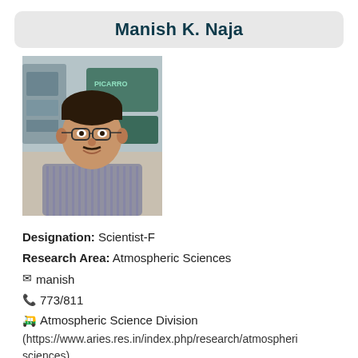Manish K. Naja
[Figure (photo): Portrait photo of Manish K. Naja, a man wearing glasses and a striped shirt, with laboratory equipment visible in the background.]
Designation: Scientist-F
Research Area: Atmospheric Sciences
manish
773/811
Atmospheric Science Division (https://www.aries.res.in/index.php/research/atmospheric-sciences)
Personal webpage (Maintained by individual)